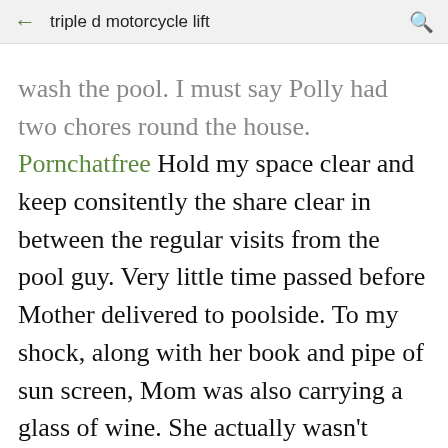triple d motorcycle lift
wash the pool. I must say Polly had two chores round the house. Pornchatfree Hold my space clear and keep consitently the share clear in between the regular visits from the pool guy. Very little time passed before Mother delivered to poolside. To my shock, along with her book and pipe of sun screen, Mom was also carrying a glass of wine. She actually wasn't much of a enthusiast, an a reaction to my father's overindulgence, I suppose. And, our wine glasses were huge. Father sized, I guess. From particular experience, I realized you could serve a lot of wine in to one glass. Enough to produce me tipsy anyway